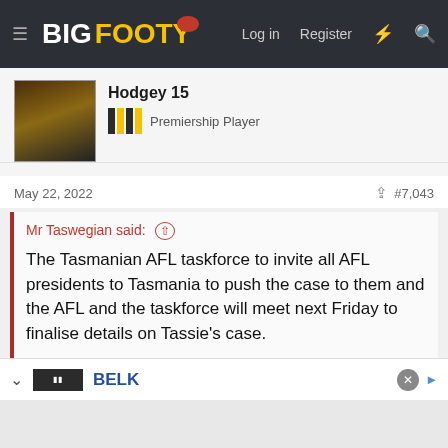BigFooty – Log in  Register
Hodgey 15
Premiership Player
May 22, 2022  #7,043
Mr Taswegian said: ↑

The Tasmanian AFL taskforce to invite all AFL presidents to Tasmania to push the case to them and the AFL and the taskforce will meet next Friday to finalise details on Tassie's case.
Getting the presidents to hear and speak to the those